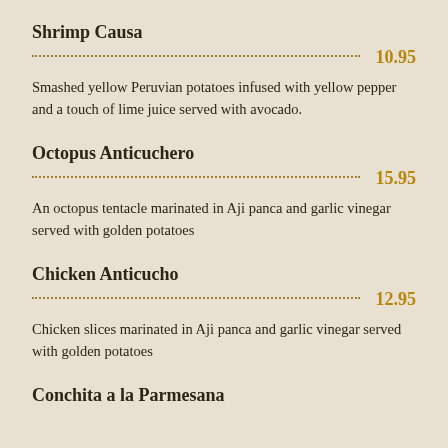Shrimp Causa
10.95
Smashed yellow Peruvian potatoes infused with yellow pepper and a touch of lime juice served with avocado.
Octopus Anticuchero
15.95
An octopus tentacle marinated in Aji panca and garlic vinegar served with golden potatoes
Chicken Anticucho
12.95
Chicken slices marinated in Aji panca and garlic vinegar served with golden potatoes
Conchita a la Parmesana